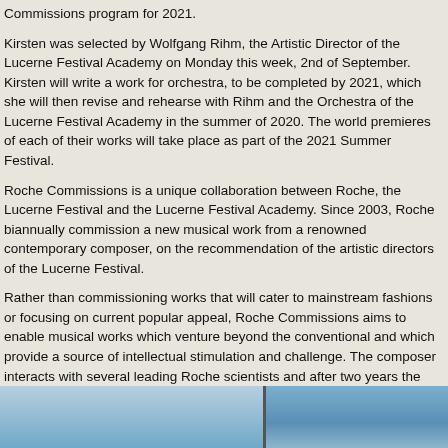Commissions program for 2021.
Kirsten was selected by Wolfgang Rihm, the Artistic Director of the Lucerne Festival Academy on Monday this week, 2nd of September.
Kirsten will write a work for orchestra, to be completed by 2021, which she will then revise and rehearse with Rihm and the Orchestra of the Lucerne Festival Academy in the summer of 2020. The world premieres of each of their works will take place as part of the 2021 Summer Festival.
Roche Commissions is a unique collaboration between Roche, the Lucerne Festival and the Lucerne Festival Academy. Since 2003, Roche biannually commission a new musical work from a renowned contemporary composer, on the recommendation of the artistic directors of the Lucerne Festival.
Rather than commissioning works that will cater to mainstream fashions or focusing on current popular appeal, Roche Commissions aims to enable musical works which venture beyond the conventional and which provide a source of intellectual stimulation and challenge. The composer interacts with several leading Roche scientists and after two years the commissioned work is premiered at the Lucerne Festival in summer.
The roots of this ground-breaking initiative stem from a partnership between Roche, the Cleveland Orchestra and Carnegie Hall which is now continued by the unique collaboration between Roche, Lucerne Festival and Lucerne Festival Academy.
[Figure (photo): Two-panel photograph showing blue sky scenes, split vertically in the center.]